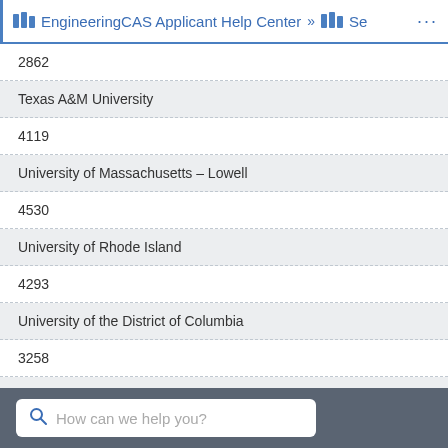EngineeringCAS Applicant Help Center » Se ...
2862
Texas A&M University
4119
University of Massachusetts – Lowell
4530
University of Rhode Island
4293
University of the District of Columbia
3258
University of the Pacific
2452
How can we help you?